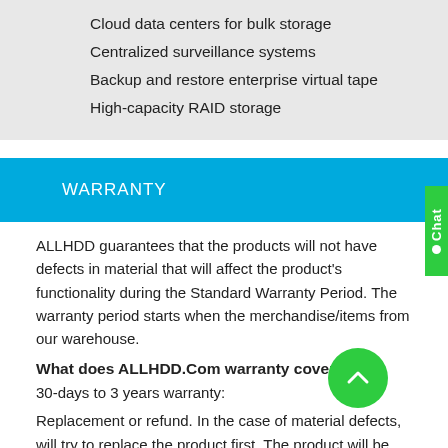Cloud data centers for bulk storage
Centralized surveillance systems
Backup and restore enterprise virtual tape
High-capacity RAID storage
WARRANTY
ALLHDD guarantees that the products will not have defects in material that will affect the product's functionality during the Standard Warranty Period. The warranty period starts when the merchandise/items from our warehouse.
What does ALLHDD.Com warranty cover?
30-days to 3 years warranty:
Replacement or refund. In the case of material defects, will try to replace the product first. The product will be replaced before the expiration of the original warranty. For any failure of hardware, if we cannot process the replacement of the product(s)/model(s), we will refund the original selling/invoiced price. The shipping costs and